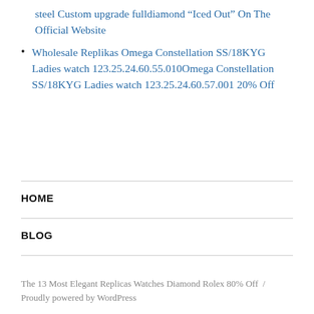steel Custom upgrade fulldiamond “Iced Out” On The Official Website
Wholesale Replikas Omega Constellation SS/18KYG Ladies watch 123.25.24.60.55.010Omega Constellation SS/18KYG Ladies watch 123.25.24.60.57.001 20% Off
HOME
BLOG
The 13 Most Elegant Replicas Watches Diamond Rolex 80% Off / Proudly powered by WordPress